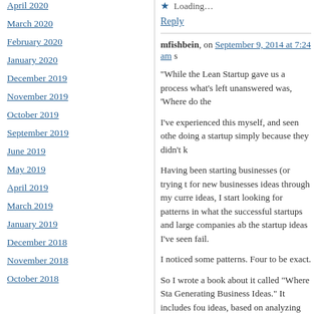April 2020
March 2020
February 2020
January 2020
December 2019
November 2019
October 2019
September 2019
June 2019
May 2019
April 2019
March 2019
January 2019
December 2018
November 2018
October 2018
Loading...
Reply
mfishbein, on September 9, 2014 at 7:24 am s
“While the Lean Startup gave us a process what’s left unanswered was, ‘Where do the
I’ve experienced this myself, and seen othe doing a startup simply because they didn’t k
Having been starting businesses (or trying t for new businesses ideas through my curre ideas, I start looking for patterns in what the successful startups and large companies ab the startup ideas I’ve seen fail.
I noticed some patterns. Four to be exact.
So I wrote a book about it called “Where Sta Generating Business Ideas.” It includes fou ideas, based on analyzing the success of d
Steve, you’ve modified the product develop build a product, and (3) see if it has market front of customers to see if it has market de to meet demand. In this book I propose to s